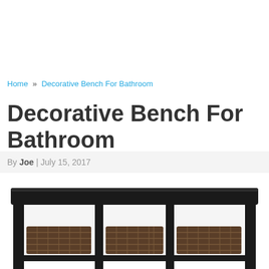Home » Decorative Bench For Bathroom
Decorative Bench For Bathroom
By Joe | July 15, 2017
[Figure (photo): Dark brown/black wooden decorative bench with three cubbies underneath, each containing a woven basket, photographed from the front slightly above.]